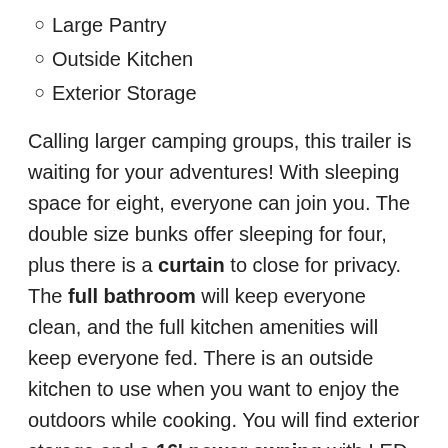Large Pantry
Outside Kitchen
Exterior Storage
Calling larger camping groups, this trailer is waiting for your adventures! With sleeping space for eight, everyone can join you. The double size bunks offer sleeping for four, plus there is a curtain to close for privacy. The full bathroom will keep everyone clean, and the full kitchen amenities will keep everyone fed. There is an outside kitchen to use when you want to enjoy the outdoors while cooking. You will find exterior storage and a 16' power awning with LED lights that offers a covered outdoor living area when you add your camping chairs. And the front bedroom offers dual entry and wardrobes plus a queen bed, and the U-shaped dinette slide gives